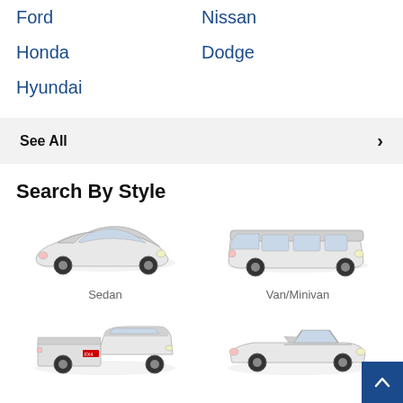Ford
Nissan
Honda
Dodge
Hyundai
See All
Search By Style
[Figure (illustration): Side view of a white sedan car]
Sedan
[Figure (illustration): Side view of a white van/minivan]
Van/Minivan
[Figure (illustration): Side view of a white pickup truck]
[Figure (illustration): Side view of a white convertible car]